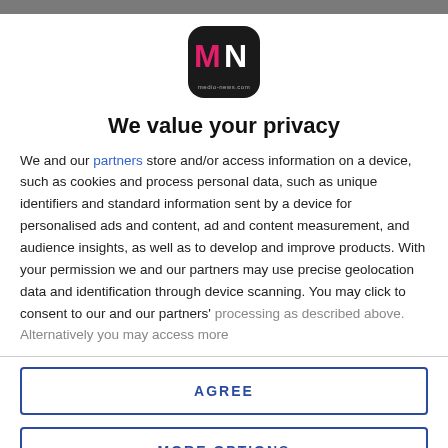[Figure (logo): MN logo — black rounded square with pink M and white N, small text 'medio-news.com' below]
We value your privacy
We and our partners store and/or access information on a device, such as cookies and process personal data, such as unique identifiers and standard information sent by a device for personalised ads and content, ad and content measurement, and audience insights, as well as to develop and improve products. With your permission we and our partners may use precise geolocation data and identification through device scanning. You may click to consent to our and our partners' processing as described above. Alternatively you may access more
AGREE
MORE OPTIONS
contracting COVID-19